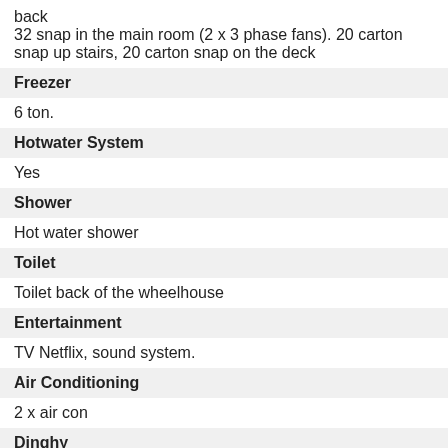back
32 snap in the main room (2 x 3 phase fans). 20 carton snap up stairs, 20 carton snap on the deck
Freezer
6 ton.
Hotwater System
Yes
Shower
Hot water shower
Toilet
Toilet back of the wheelhouse
Entertainment
TV Netflix, sound system.
Air Conditioning
2 x air con
Dinghy
Spanish Mackerel dory, 19ft, GRP, 22 HP Isuzu, outrigger/stabalizer. 3 x 12 volt power reels. Trailer (not